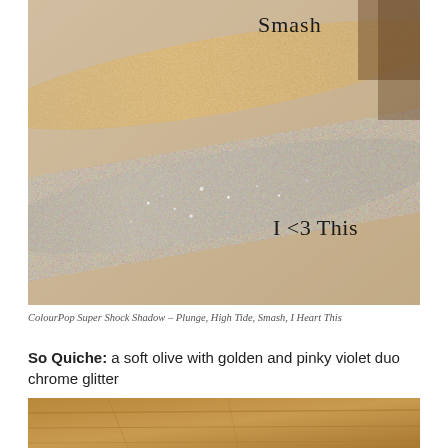[Figure (photo): Close-up photo of makeup swatches on skin showing two shimmer eyeshadow swatches. The upper swatch is a warm golden bronze labeled 'Smash' and the lower swatch is a cool silver taupe labeled 'I <3 This'. The skin has a peachy, slightly textured appearance.]
ColourPop Super Shock Shadow – Plunge, High Tide, Smash, I Heart This
So Quiche: a soft olive with golden and pinky violet duo chrome glitter
[Figure (photo): Bottom portion of a photo showing a wooden surface.]